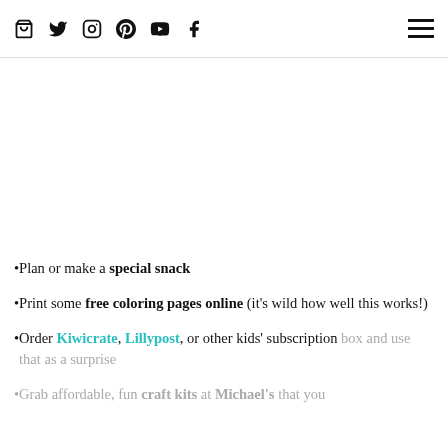Social media icons (bag, twitter, instagram, pinterest, youtube, facebook) and hamburger menu
Plan or make a special snack
Print some free coloring pages online (it's wild how well this works!)
Order Kiwicrate, Lillypost, or other kids' subscription box and use that as a surprise
Grab affordable, fun craft kits at Michael's that you